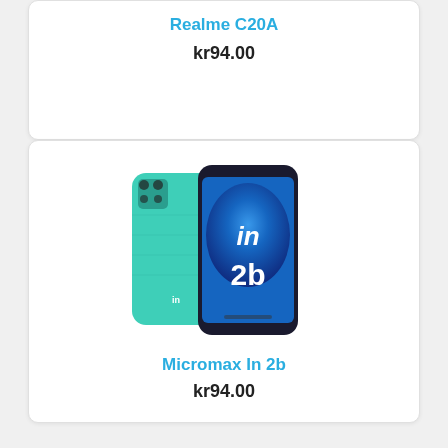Realme C20A
kr94.00
[Figure (photo): Micromax In 2b smartphone shown from front and back, teal/green color, displaying 'in 2b' on the screen]
Micromax In 2b
kr94.00